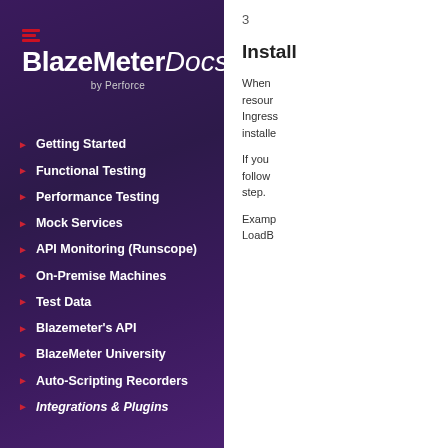[Figure (logo): BlazeMeter Docs by Perforce logo with red horizontal lines icon on dark purple background]
Getting Started
Functional Testing
Performance Testing
Mock Services
API Monitoring (Runscope)
On-Premise Machines
Test Data
Blazemeter's API
BlazeMeter University
Auto-Scripting Recorders
Integrations & Plugins
3
Install
When resour Ingress installed
If you follow step.
Examp LoadB